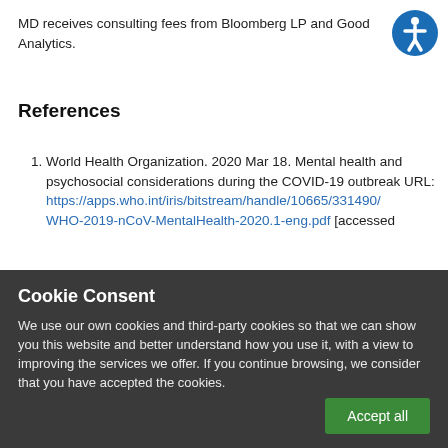MD receives consulting fees from Bloomberg LP and Good Analytics.
References
World Health Organization. 2020 Mar 18. Mental health and psychosocial considerations during the COVID-19 outbreak URL: https://apps.who.int/iris/bitstream/handle/10665/331490/WHO-2019-nCoV-MentalHealth-2020.1-eng.pdf [accessed
Cookie Consent
We use our own cookies and third-party cookies so that we can show you this website and better understand how you use it, with a view to improving the services we offer. If you continue browsing, we consider that you have accepted the cookies.